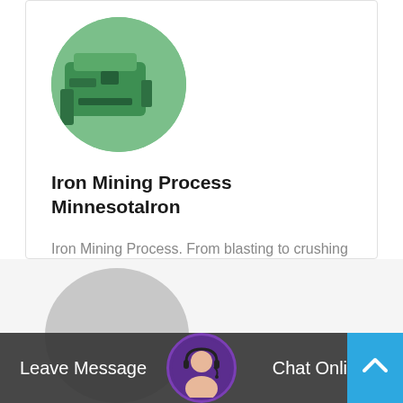[Figure (photo): Circular cropped photo of green mining/industrial equipment]
Iron Mining Process MinnesotaIron
Iron Mining Process. From blasting to crushing to separation – more than 85% of theironmined in the United States is mined in northeastern Minnesota...
Read More →
[Figure (photo): Grey circle avatar placeholder and customer service representative avatar with headset, alongside Leave Message and Chat Online chat bar]